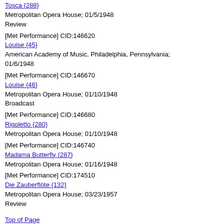Tosca {288}
Metropolitan Opera House; 01/5/1948
Review
[Met Performance] CID:146620
Louise {45}
American Academy of Music, Philadelphia, Pennsylvania; 01/6/1948
[Met Performance] CID:146670
Louise {46}
Metropolitan Opera House; 01/10/1948
Broadcast
[Met Performance] CID:146680
Rigoletto {280}
Metropolitan Opera House; 01/10/1948
[Met Performance] CID:146740
Madama Butterfly {287}
Metropolitan Opera House; 01/16/1948
[Met Performance] CID:174510
Die Zauberflöte {132}
Metropolitan Opera House; 03/23/1957
Review
Top of Page